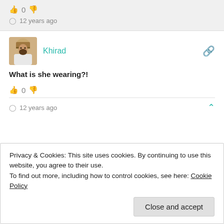👍 0 👎
🕐 12 years ago
[Figure (photo): User avatar for Khirad showing a person in traditional Middle Eastern attire]
Khirad
What is she wearing?!
👍 0 👎
🕐 12 years ago
Privacy & Cookies: This site uses cookies. By continuing to use this website, you agree to their use.
To find out more, including how to control cookies, see here: Cookie Policy
Close and accept